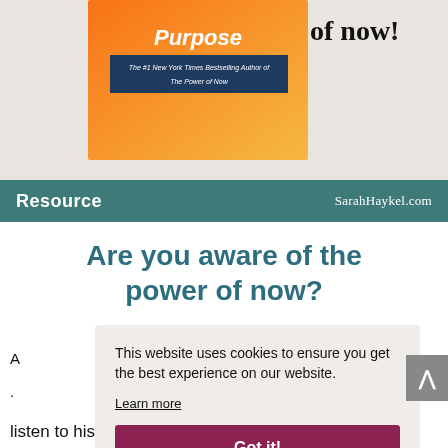[Figure (illustration): Top portion of page showing a book cover with orange/yellow gradient background, white italic text 'Purpose' and subtitle bar, alongside handwritten-style black text 'of now!' on white background]
Resource   SarahHaykel.com
Are you aware of the power of now?
This website uses cookies to ensure you get the best experience on our website.
Learn more
Got it!
listen to his second book.  Dear friends of